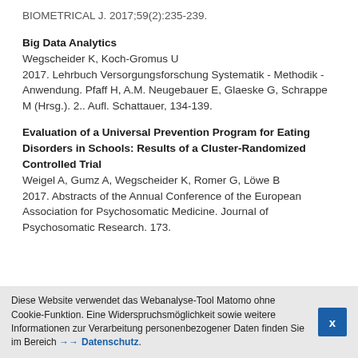BIOMETRICAL J. 2017;59(2):235-239.
Big Data Analytics
Wegscheider K, Koch-Gromus U
2017. Lehrbuch Versorgungsforschung Systematik - Methodik - Anwendung. Pfaff H, A.M. Neugebauer E, Glaeske G, Schrappe M (Hrsg.). 2.. Aufl. Schattauer, 134-139.
Evaluation of a Universal Prevention Program for Eating Disorders in Schools: Results of a Cluster-Randomized Controlled Trial
Weigel A, Gumz A, Wegscheider K, Romer G, Löwe B
2017. Abstracts of the Annual Conference of the European Association for Psychosomatic Medicine. Journal of Psychosomatic Research. 173.
Diese Website verwendet das Webanalyse-Tool Matomo ohne Cookie-Funktion. Eine Widerspruchsmöglichkeit sowie weitere Informationen zur Verarbeitung personenbezogener Daten finden Sie im Bereich → Datenschutz.